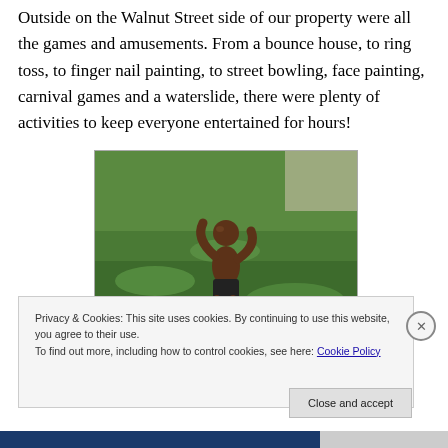Outside on the Walnut Street side of our property were all the games and amusements. From a bounce house, to ring toss, to finger nail painting, to street bowling, face painting, carnival games and a waterslide, there were plenty of activities to keep everyone entertained for hours!
[Figure (photo): A young shirtless child running or playing on green grass outdoors]
Privacy & Cookies: This site uses cookies. By continuing to use this website, you agree to their use.
To find out more, including how to control cookies, see here: Cookie Policy
Close and accept